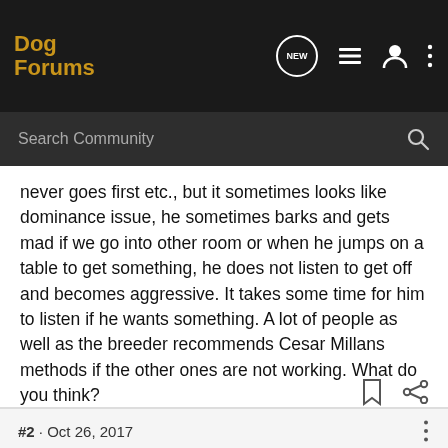Dog Forums
never goes first etc., but it sometimes looks like dominance issue, he sometimes barks and gets mad if we go into other room or when he jumps on a table to get something, he does not listen to get off and becomes aggressive. It takes some time for him to listen if he wants something. A lot of people as well as the breeder recommends Cesar Millans methods if the other ones are not working. What do you think?
3GSD4IPO · Registered
Joined Jun 8, 2016 · 2,607 Posts
#2 · Oct 26, 2017